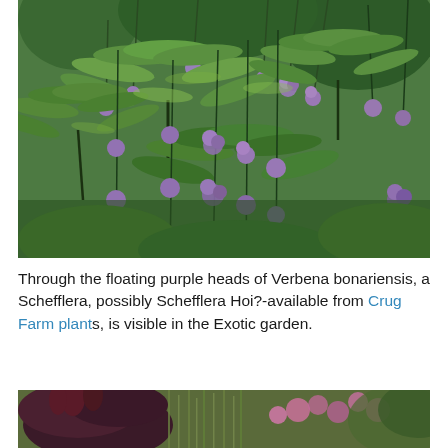[Figure (photo): Garden photo showing large-leaved Schefflera plant with palmate leaves in the foreground, and tall stems of Verbena bonariensis with small purple/mauve flower clusters floating above, set against a lush green garden background.]
Through the floating purple heads of Verbena bonariensis, a Schefflera, possibly Schefflera Hoi?-available from Crug Farm plants, is visible in the Exotic garden.
[Figure (photo): Partial garden photo at bottom of page showing dark reddish-purple foliage plant (possibly Amaranthus) with pink flowers and ornamental grasses in a garden setting.]